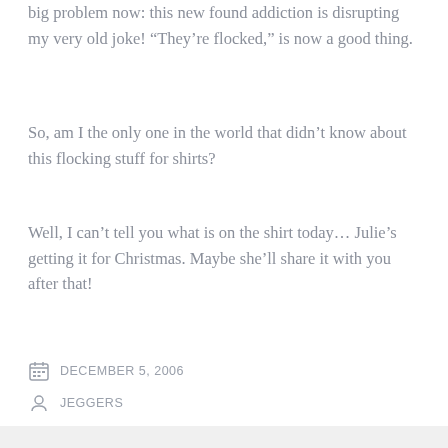big problem now: this new found addiction is disrupting my very old joke! “They’re flocked,” is now a good thing.
So, am I the only one in the world that didn’t know about this flocking stuff for shirts?
Well, I can’t tell you what is on the shirt today… Julie’s getting it for Christmas. Maybe she’ll share it with you after that!
DECEMBER 5, 2006
JEGGERS
1 COMMENT